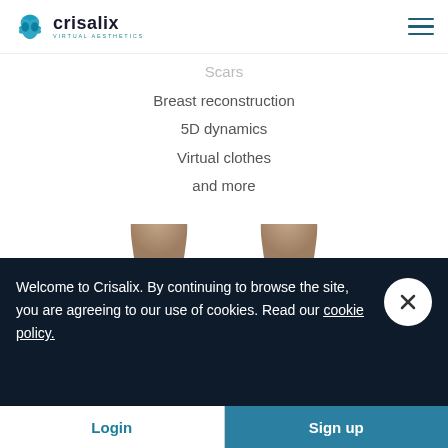crisalix VIRTUAL AESTHETICS
Scars
Breast reconstruction
5D dynamics
Virtual clothes
and more
[Figure (photo): Two 3D rendered torso models side by side, showing breast simulation before/after comparison in beige/tan color]
Welcome to Crisalix. By continuing to browse the site, you are agreeing to our use of cookies. Read our cookie policy.
Login  |  Sign up